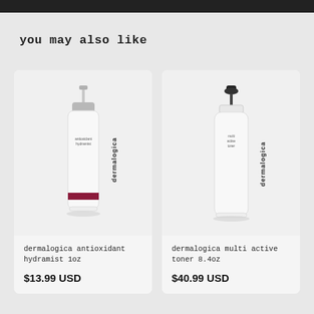you may also like
[Figure (photo): Dermalogica Antioxidant Hydramist 1oz spray bottle, white with silver pump top and dark red label]
dermalogica antioxidant hydramist 1oz
$13.99 USD
[Figure (photo): Dermalogica Multi Active Toner 8.4oz bottle, white with black pump top]
dermalogica multi active toner 8.4oz
$40.99 USD